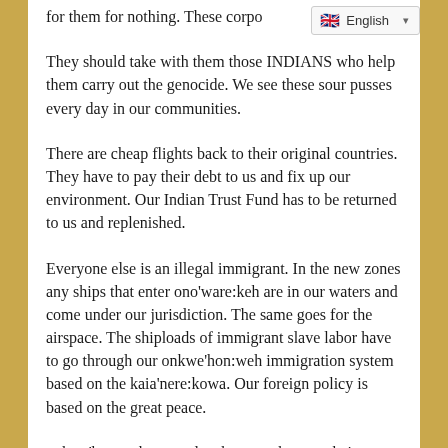for them for nothing. These corpo
They should take with them those INDIANS who help them carry out the genocide. We see these sour pusses every day in our communities.
There are cheap flights back to their original countries. They have to pay their debt to us and fix up our environment. Our Indian Trust Fund has to be returned to us and replenished.
Everyone else is an illegal immigrant. In the new zones any ships that enter ono'ware:keh are in our waters and come under our jurisdiction. The same goes for the airspace. The shiploads of immigrant slave labor have to go through our onkwe'hon:weh immigration system based on the kaia'nere:kowa. Our foreign policy is based on the great peace.
onkwe'hon:weh pretenders have to show us their lineage, speak onkwe'hon:weh'neha, and follow the